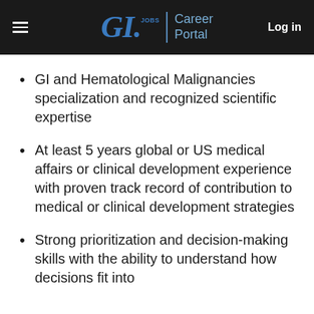GI.JOBS | Career Portal   Log in
GI and Hematological Malignancies specialization and recognized scientific expertise
At least 5 years global or US medical affairs or clinical development experience with proven track record of contribution to medical or clinical development strategies
Strong prioritization and decision-making skills with the ability to understand how decisions fit into